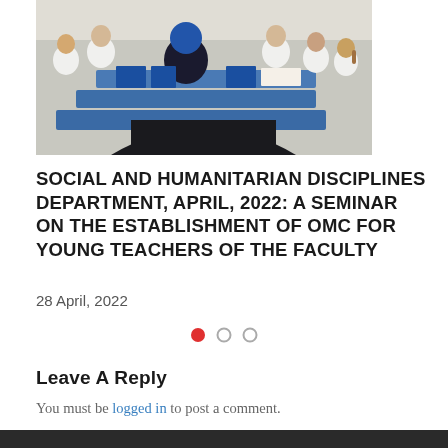[Figure (photo): A classroom scene with people in white coats seated around blue tables, a person in a black vest and blue hijab seated in the foreground with their back to the camera, papers and notebooks on the tables.]
SOCIAL AND HUMANITARIAN DISCIPLINES DEPARTMENT, APRIL, 2022: A SEMINAR ON THE ESTABLISHMENT OF OMC FOR YOUNG TEACHERS OF THE FACULTY
28 April, 2022
LEAVE A REPLY
You must be logged in to post a comment.